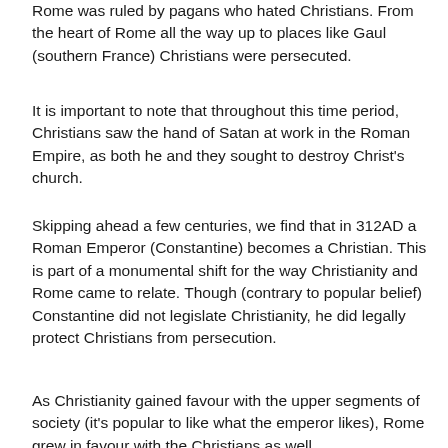Rome was ruled by pagans who hated Christians. From the heart of Rome all the way up to places like Gaul (southern France) Christians were persecuted.
It is important to note that throughout this time period, Christians saw the hand of Satan at work in the Roman Empire, as both he and they sought to destroy Christ's church.
Skipping ahead a few centuries, we find that in 312AD a Roman Emperor (Constantine) becomes a Christian. This is part of a monumental shift for the way Christianity and Rome came to relate. Though (contrary to popular belief) Constantine did not legislate Christianity, he did legally protect Christians from persecution.
As Christianity gained favour with the upper segments of society (it's popular to like what the emperor likes), Rome grew in favour with the Christians as well.